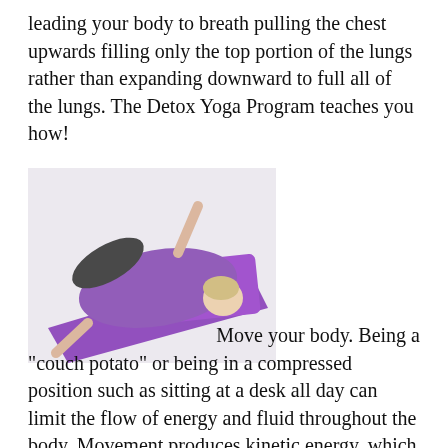leading your body to breath pulling the chest upwards filling only the top portion of the lungs rather than expanding downward to full all of the lungs. The Detox Yoga Program teaches you how!
[Figure (photo): A woman in a purple top lying on a purple yoga mat on a white surface, viewed from above, in a relaxed yoga pose.]
Move your body. Being a “couch potato” or being in a compressed position such as sitting at a desk all day can limit the flow of energy and fluid throughout the body. Movement produces kinetic energy, which can be converted into power to fuels the body. Detox Yoga teaches you how to begin slowly...